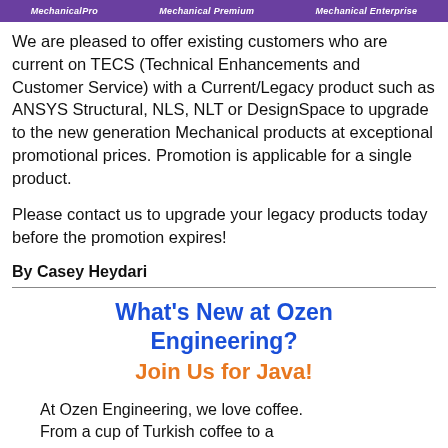MechanicalPro   Mechanical Premium   Mechanical Enterprise
We are pleased to offer existing customers who are current on TECS (Technical Enhancements and Customer Service) with a Current/Legacy product such as ANSYS Structural, NLS, NLT or DesignSpace to upgrade to the new generation Mechanical products at exceptional promotional prices. Promotion is applicable for a single product.
Please contact us to upgrade your legacy products today before the promotion expires!
By Casey Heydari
What's New at Ozen Engineering?
Join Us for Java!
At Ozen Engineering, we love coffee. From a cup of Turkish coffee to a